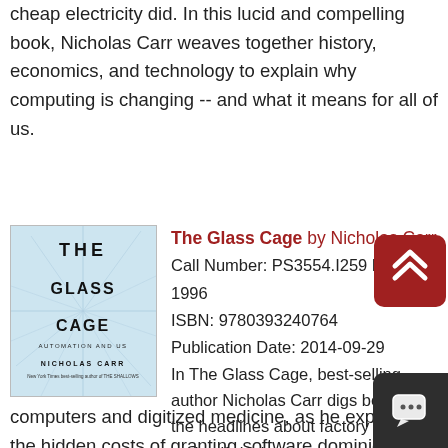cheap electricity did. In this lucid and compelling book, Nicholas Carr weaves together history, economics, and technology to explain why computing is changing -- and what it means for all of us.
[Figure (illustration): Book cover of 'The Glass Cage: Automation and Us' by Nicholas Carr, showing cracked glass pattern with dark bold text.]
The Glass Cage by Nicholas Carr
Call Number: PS3554.I259 D76 1996
ISBN: 9780393240764
Publication Date: 2014-09-29
In The Glass Cage, best-selling author Nicholas Carr digs behind the headlines about factory robots and self-driving cars, wearable computers and digitized medicine, as he explores the hidden costs of granting software dominion over our work and our leisure. Even as they bring ease to our lives, these programs are stealing something essential from us. Drawing on psychological and neurological studies that underscore how